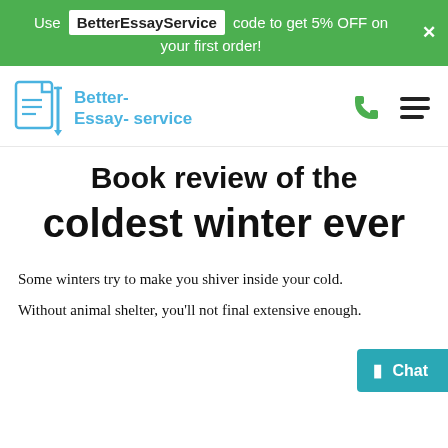Use BetterEssayService code to get 5% OFF on your first order!
[Figure (logo): Better-Essay-service logo with document and pencil icon in blue, with phone and hamburger menu icons]
Book review of the coldest winter ever
Some winters try to make you shiver inside your cold.
Without animal shelter, you'll not final extensive enough.